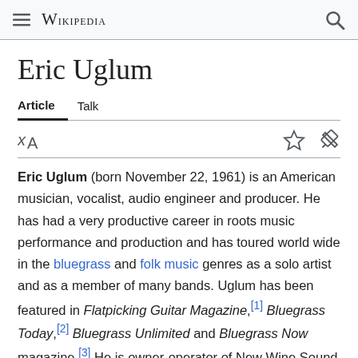Wikipedia
Eric Uglum
Article  Talk
Eric Uglum (born November 22, 1961) is an American musician, vocalist, audio engineer and producer. He has had a very productive career in roots music performance and production and has toured world wide in the bluegrass and folk music genres as a solo artist and as a member of many bands. Uglum has been featured in Flatpicking Guitar Magazine,[1] Bluegrass Today,[2] Bluegrass Unlimited and Bluegrass Now magazine.[3] He is owner-operator of New Wine Sound Studio and Mastering Lab in